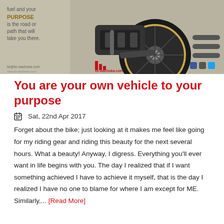[Figure (photo): Photograph of a motorcycle rear wheel and engine, with tan/beige background. Text overlay on the left reads 'fuel and your PURPOSE is the road or path that will take you there.' Liz Wachuka branding visible with logo and social media icons.]
You are your own vehicle to your purpose
📅 Sat, 22nd Apr 2017
Forget about the bike; just looking at it makes me feel like going for my riding gear and riding this beauty for the next several hours. What a beauty! Anyway, I digress. Everything you'll ever want in life begins with you. The day I realized that if I want something achieved I have to achieve it myself, that is the day I realized I have no one to blame for where I am except for ME. Similarly,... [Read More]